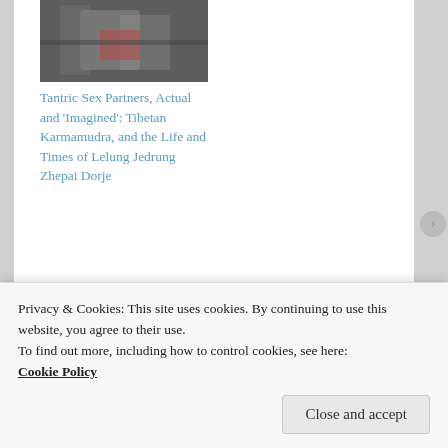[Figure (photo): A close-up photograph with dark and reddish tones, partially visible at top]
Tantric Sex Partners, Actual and 'Imagined': Tibetan Karmamudra, and the Life and Times of Lelung Jedrung Zhepai Dorje
May 16, 2016
In "Reflection"
This entry was posted in Reflection and tagged christian missionaries, christianity, church, dalai
Privacy & Cookies: This site uses cookies. By continuing to use this website, you agree to their use. To find out more, including how to control cookies, see here: Cookie Policy
Close and accept